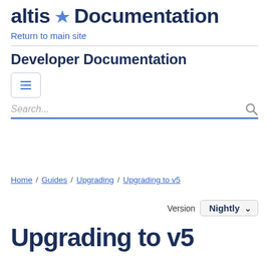altis Documentation
Return to main site
Developer Documentation
Search...
Home / Guides / Upgrading / Upgrading to v5
Version Nightly
Upgrading to v5